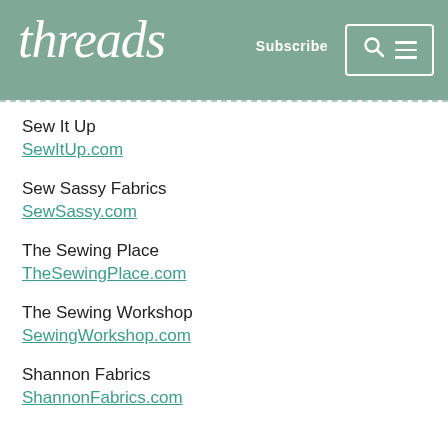threads | Subscribe
Sew It Up
SewItUp.com
Sew Sassy Fabrics
SewSassy.com
The Sewing Place
TheSewingPlace.com
The Sewing Workshop
SewingWorkshop.com
Shannon Fabrics
ShannonFabrics.com